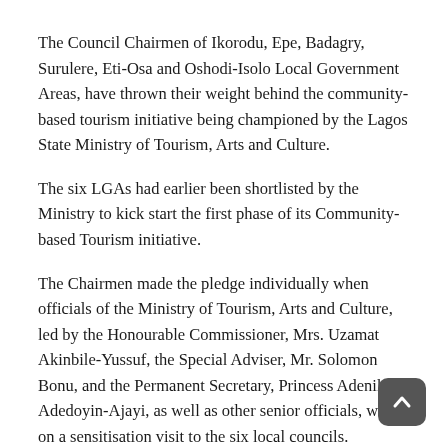The Council Chairmen of Ikorodu, Epe, Badagry, Surulere, Eti-Osa and Oshodi-Isolo Local Government Areas, have thrown their weight behind the community-based tourism initiative being championed by the Lagos State Ministry of Tourism, Arts and Culture.
The six LGAs had earlier been shortlisted by the Ministry to kick start the first phase of its Community-based Tourism initiative.
The Chairmen made the pledge individually when officials of the Ministry of Tourism, Arts and Culture, led by the Honourable Commissioner, Mrs. Uzamat Akinbile-Yussuf, the Special Adviser, Mr. Solomon Bonu, and the Permanent Secretary, Princess Adenike Adedoyin-Ajayi, as well as other senior officials, were on a sensitisation visit to the six local councils.
Akinbile-Yussuf, during the visit to Epe Local Government, expressed delight with the acceptance of the Community-based Tourism initiative by the leadership of the Council.
In her words: “I am so happy and delighted that people we need to